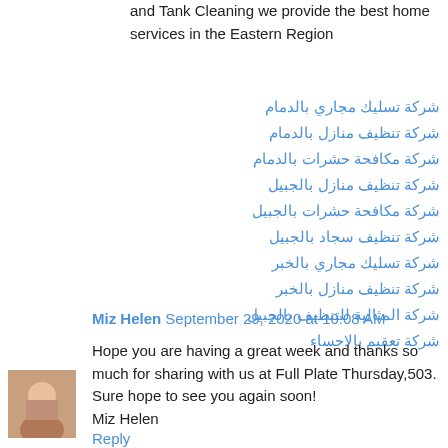and Tank Cleaning we provide the best home services in the Eastern Region
شركة تسليك مجاري بالدمام
شركة تنظيف منازل بالدمام
شركة مكافحة حشرات بالدمام
شركة تنظيف منازل بالجبيل
شركة مكافحة حشرات بالجبيل
شركة تنظيف سجاد بالجبيل
شركة تسليك مجاري بالخبر
شركة تنظيف منازل بالخبر
شركة المثالية للتنظيف بالجبيل
شركة تعقيم بالاحساء
Reply
Miz Helen  September 29, 2020 at 10:08 AM
Hope you are having a great week and thanks so much for sharing with us at Full Plate Thursday,503. Sure hope to see you again soon!
Miz Helen
Reply